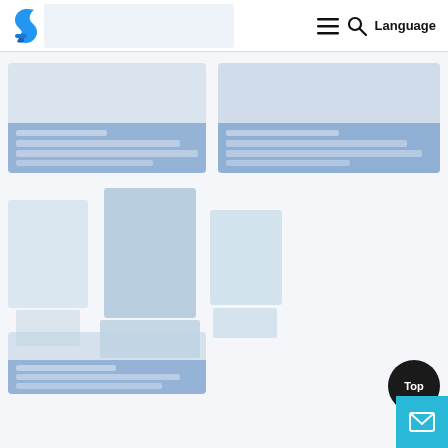Website navigation header with logo, hamburger menu, search icon, and Language button
[Figure (screenshot): Card placeholder image with blue overlay and text lines, left column row 1]
[Figure (screenshot): Card placeholder image with blue overlay and text lines, right column row 1]
[Figure (photo): Row of book/product images placeholder]
[Figure (screenshot): Card placeholder image with blue overlay and text lines, row 3]
[Figure (other): Top scroll button (dark circle with Top label) and mail/contact button (cyan square)]